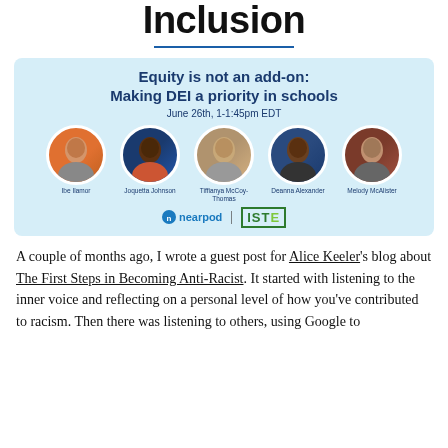Inclusion
[Figure (infographic): Event banner for 'Equity is not an add-on: Making DEI a priority in schools', June 26th, 1-1:45pm EDT, featuring five speakers: Ibe Ilamor, Joquetta Johnson, Tiffianya McCoy-Thomas, Deanna Alexander, Melody McAlister. Hosted by Nearpod and ISTE.]
A couple of months ago, I wrote a guest post for Alice Keeler's blog about The First Steps in Becoming Anti-Racist. It started with listening to the inner voice and reflecting on a personal level of how you've contributed to racism. Then there was listening to others, using Google to